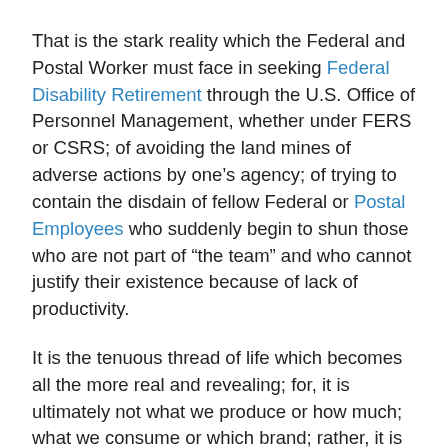That is the stark reality which the Federal and Postal Worker must face in seeking Federal Disability Retirement through the U.S. Office of Personnel Management, whether under FERS or CSRS; of avoiding the land mines of adverse actions by one's agency; of trying to contain the disdain of fellow Federal or Postal Employees who suddenly begin to shun those who are not part of “the team” and who cannot justify their existence because of lack of productivity.
It is the tenuous thread of life which becomes all the more real and revealing; for, it is ultimately not what we produce or how much; what we consume or which brand; rather, it is how we tend to the weakest and the flimsy which represents the soul of a person, a neighborhood, a community.